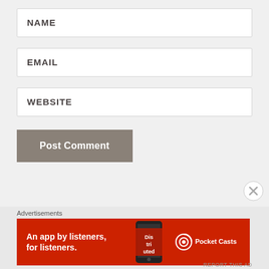NAME
EMAIL
WEBSITE
Post Comment
[Figure (screenshot): Advertisement banner for Pocket Casts app with red background, text reading 'An app by listeners, for listeners.' and Pocket Casts logo on right, phone image in center-right area. Close button (X) in circle on right side.]